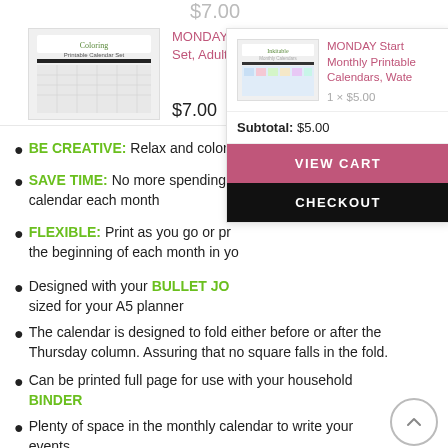[Figure (screenshot): Product thumbnail - Coloring Printable Calendar Set]
MONDAY Start, 2C Set, Adult Coloring
$7.00
[Figure (screenshot): Product thumbnail - Inkitable Monthly Printable Calendars Watercolor]
MONDAY Start Monthly Printable Calendars, Wate
1 × $5.00
Subtotal: $5.00
VIEW CART
CHECKOUT
BE CREATIVE: Relax and color
SAVE TIME: No more spending calendar each month
FLEXIBLE: Print as you go or pr the beginning of each month in yo
Designed with your BULLET JO sized for your A5 planner
The calendar is designed to fold either before or after the Thursday column. Assuring that no square falls in the fold.
Can be printed full page for use with your household BINDER
Plenty of space in the monthly calendar to write your events